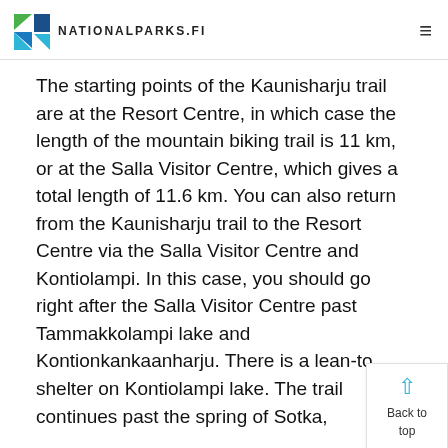NATIONALPARKS.FI
The starting points of the Kaunisharju trail are at the Resort Centre, in which case the length of the mountain biking trail is 11 km, or at the Salla Visitor Centre, which gives a total length of 11.6 km. You can also return from the Kaunisharju trail to the Resort Centre via the Salla Visitor Centre and Kontiolampi. In this case, you should go right after the Salla Visitor Centre past Tammakkolampi lake and Kontionkankaanharju. There is a lean-to shelter on Kontiolampi lake. The trail continues past the spring of Sotka,